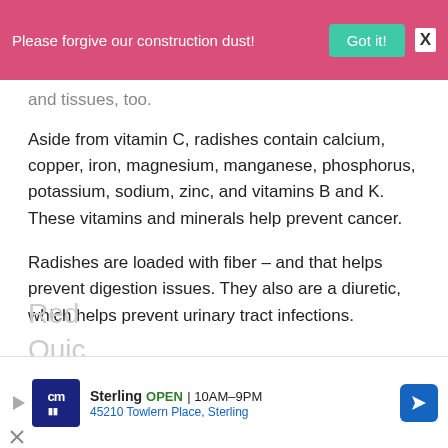Please forgive our construction dust! Got it! X
and tissues, too.
Aside from vitamin C, radishes contain calcium, copper, iron, magnesium, manganese, phosphorus, potassium, sodium, zinc, and vitamins B and K. These vitamins and minerals help prevent cancer.
Radishes are loaded with fiber – and that helps prevent digestion issues. They also are a diuretic, which helps prevent urinary tract infections.
Red
Quic
[Figure (other): Advertisement banner for Sterling car dealership (cm logo), OPEN 10AM-9PM, 45210 Towlern Place, Sterling, with navigation arrow icon]